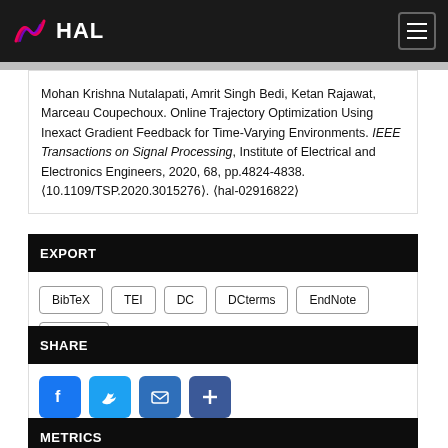HAL
Mohan Krishna Nutalapati, Amrit Singh Bedi, Ketan Rajawat, Marceau Coupechoux. Online Trajectory Optimization Using Inexact Gradient Feedback for Time-Varying Environments. IEEE Transactions on Signal Processing, Institute of Electrical and Electronics Engineers, 2020, 68, pp.4824-4838. (10.1109/TSP.2020.3015276). (hal-02916822)
EXPORT
BibTeX
TEI
DC
DCterms
EndNote
Datacite
SHARE
[Figure (infographic): Social share buttons: Facebook, Twitter, Email, More]
METRICS
Record views